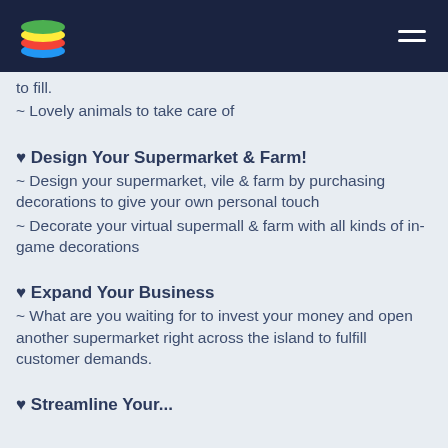[App logo and navigation menu]
to fill.
~ Lovely animals to take care of
♥ Design Your Supermarket & Farm!
~ Design your supermarket, vile & farm by purchasing decorations to give your own personal touch
~ Decorate your virtual supermall & farm with all kinds of in-game decorations
♥ Expand Your Business
~ What are you waiting for to invest your money and open another supermarket right across the island to fulfill customer demands.
♥ Streamline Your...